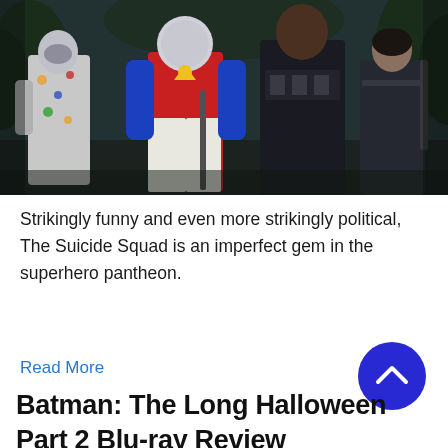[Figure (photo): A group of superhero characters in costumes standing in a dark jungle setting. From left: a figure in a white spotted suit, a figure in a bright red and blue Peacemaker costume with a round metallic helmet, a large muscular figure in dark clothes, and a figure in dark tactical armor. Scene appears to be from The Suicide Squad film.]
Strikingly funny and even more strikingly political, The Suicide Squad is an imperfect gem in the superhero pantheon.
Read More
Batman: The Long Halloween Part 2 Blu-ray Review